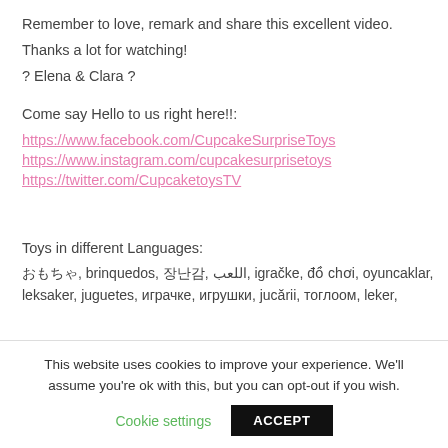Remember to love, remark and share this excellent video.
Thanks a lot for watching!
? Elena & Clara ?
Come say Hello to us right here!!:
https://www.facebook.com/CupcakeSurpriseToys
https://www.instagram.com/cupcakesurprisetoys
https://twitter.com/CupcaketoysTV
Toys in different Languages:
おもちゃ, brinquedos, 장난감, اللعب, igračke, đồ chơi, oyuncaklar, leksaker, juguetes, играчке, игрушки, jucării, тоглоом, leker,
This website uses cookies to improve your experience. We'll assume you're ok with this, but you can opt-out if you wish.
Cookie settings    ACCEPT